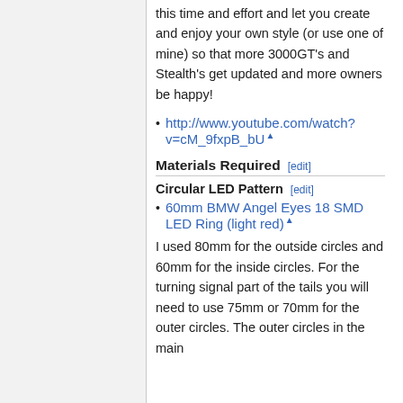this time and effort and let you create and enjoy your own style (or use one of mine) so that more 3000GT's and Stealth's get updated and more owners be happy!
http://www.youtube.com/watch?v=cM_9fxpB_bU
Materials Required [edit]
Circular LED Pattern [edit]
60mm BMW Angel Eyes 18 SMD LED Ring (light red)
I used 80mm for the outside circles and 60mm for the inside circles. For the turning signal part of the tails you will need to use 75mm or 70mm for the outer circles. The outer circles in the main